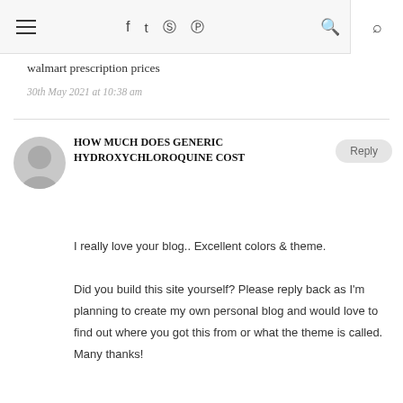≡  f  t  (instagram)  (pinterest)  (search)
walmart prescription prices
30th May 2021 at 10:38 am
HOW MUCH DOES GENERIC HYDROXYCHLOROQUINE COST
I really love your blog.. Excellent colors & theme.

Did you build this site yourself? Please reply back as I'm planning to create my own personal blog and would love to find out where you got this from or what the theme is called. Many thanks!